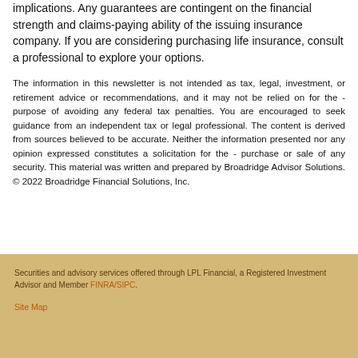implications. Any guarantees are contingent on the financial strength and claims-paying ability of the issuing insurance company. If you are considering purchasing life insurance, consult a professional to explore your options.
The information in this newsletter is not intended as tax, legal, investment, or retirement advice or recommendations, and it may not be relied on for the - purpose of avoiding any federal tax penalties. You are encouraged to seek guidance from an independent tax or legal professional. The content is derived from sources believed to be accurate. Neither the information presented nor any opinion expressed constitutes a solicitation for the - purchase or sale of any security. This material was written and prepared by Broadridge Advisor Solutions. © 2022 Broadridge Financial Solutions, Inc.
Securities and advisory services offered through LPL Financial, a Registered Investment Advisor and Member FINRA/SIPC.
Site Map